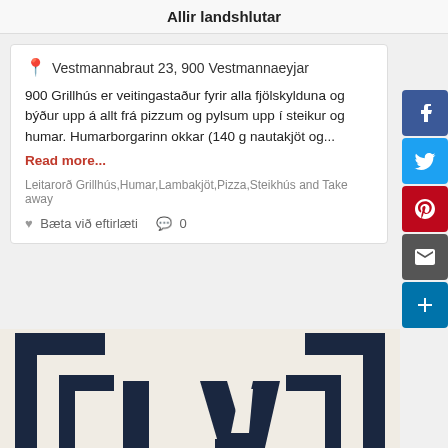Allir landshlutar
Vestmannabraut 23, 900 Vestmannaeyjar
900 Grillhús er veitingastaður fyrir alla fjölskylduna og býður upp á allt frá pizzum og pylsum upp í steikur og humar. Humarborgarinn okkar (140 g nautakjöt og...
Read more...
Leitarorð Grillhús,Humar,Lambakjöt,Pizza,Steikhús and Take away
Bæta við eftirlæti   0
[Figure (logo): Dark navy blue logo with large bracket symbols [ ] and the letters LA in the center on a cream/beige background]